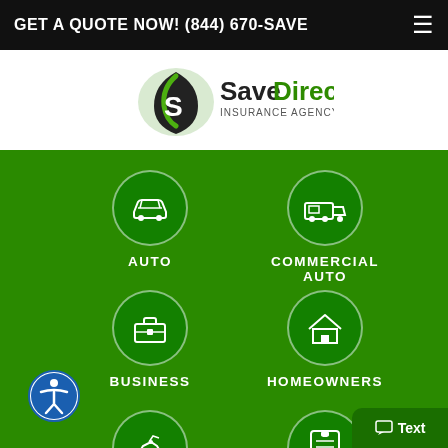GET A QUOTE NOW! (844) 670-SAVE
[Figure (logo): SaveDirect Insurance Agency LLC logo with black and green shield/drop icon]
[Figure (infographic): Insurance services menu grid on green background with 6 icons: Auto, Commercial Auto, Business, Homeowners, Motorcycle, SR-22]